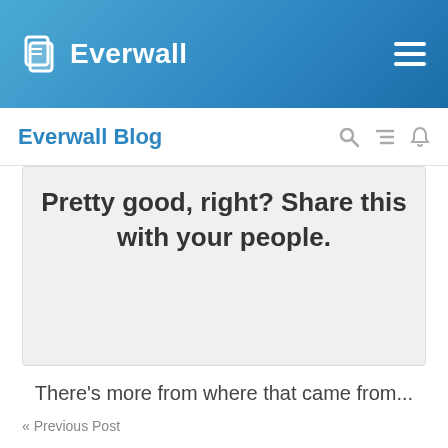Everwall
Everwall Blog
Pretty good, right? Share this with your people.
There's more from where that came from...
« Previous Post
Tweetwall & Eventbrite Have Partnered!